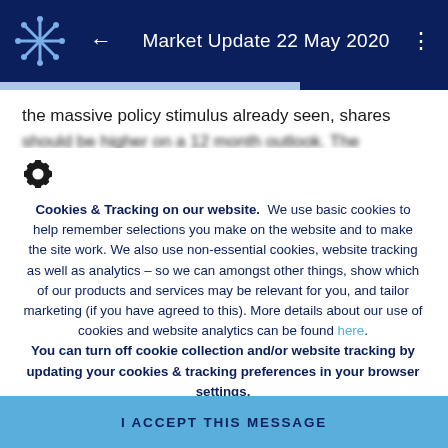Market Update 22 May 2020
the massive policy stimulus already seen, shares should be higher on a 12 month outlook. The
[Figure (other): Gear/settings icon]
Cookies & Tracking on our website. We use basic cookies to help remember selections you make on the website and to make the site work. We also use non-essential cookies, website tracking as well as analytics - so we can amongst other things, show which of our products and services may be relevant for you, and tailor marketing (if you have agreed to this). More details about our use of cookies and website analytics can be found here. You can turn off cookie collection and/or website tracking by updating your cookies & tracking preferences in your browser settings.
I ACCEPT THIS MESSAGE